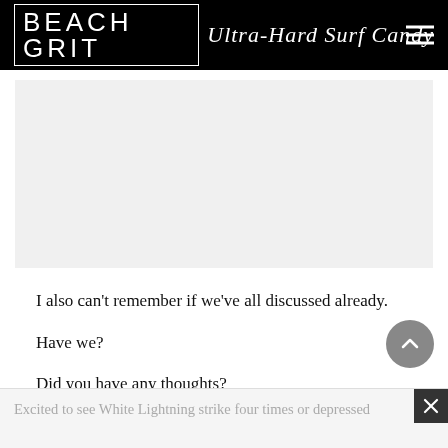BEACH GRIT Ultra-Hard Surf Candy
[Figure (other): Light gray advertisement placeholder rectangle]
I also can’t remember if we’ve all discussed already.
Have we?
Did you have any thoughts?
Excited to see White Lightning strike four times or depressed